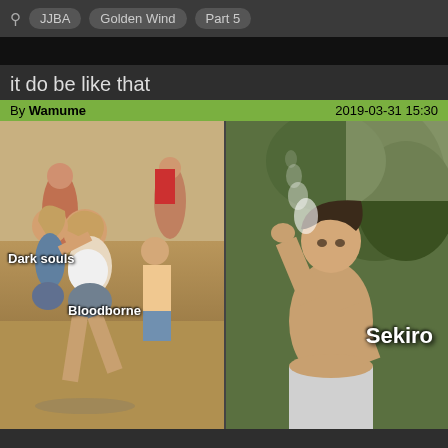JJBA  Golden Wind  Part 5
it do be like that
By Wamume   2019-03-31 15:30
[Figure (photo): Two-panel meme. Left panel: outdoor fight scene with two girls, labeled 'Dark souls' and 'Bloodborne'. Right panel: shirtless young man exhaling smoke, labeled 'Sekiro'.]